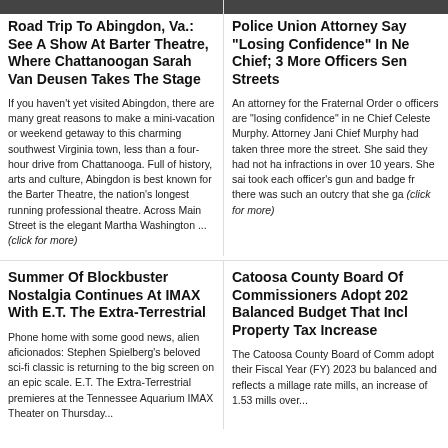Road Trip To Abingdon, Va.: See A Show At Barter Theatre, Where Chattanoogan Sarah Van Deusen Takes The Stage
If you haven't yet visited Abingdon, there are many great reasons to make a mini-vacation or weekend getaway to this charming southwest Virginia town, less than a four-hour drive from Chattanooga. Full of history, arts and culture, Abingdon is best known for the Barter Theatre, the nation's longest running professional theatre. Across Main Street is the elegant Martha Washington ... (click for more)
Police Union Attorney Says Officers Are "Losing Confidence" In New Chief; 3 More Officers Sent Off Streets
An attorney for the Fraternal Order of Police says officers are "losing confidence" in new Police Chief Celeste Murphy. Attorney Janie Parks said Chief Murphy had taken three more officers off the street. She said they had not had any infractions in over 10 years. She said the chief took each officer's gun and badge from them, but there was such an outcry that she ga... (click for more)
Summer Of Blockbuster Nostalgia Continues At IMAX With E.T. The Extra-Terrestrial
Phone home with some good news, alien aficionados: Stephen Spielberg's beloved sci-fi classic is returning to the big screen on an epic scale. E.T. The Extra-Terrestrial premieres at the Tennessee Aquarium IMAX Theater on Thursday...
Catoosa County Board Of Commissioners Adopt 2023 Balanced Budget That Includes Property Tax Increase
The Catoosa County Board of Commissioners adopt their Fiscal Year (FY) 2023 budget that is balanced and reflects a millage rate of... mills, an increase of 1.53 mills over...